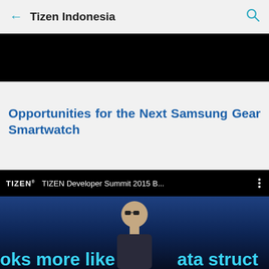← Tizen Indonesia 🔍
[Figure (photo): Black banner/image area at top of article]
Opportunities for the Next Samsung Gear Smartwatch
[Figure (screenshot): Video thumbnail showing TIZEN Developer Summit 2015 B... with a person speaking on stage, text overlay reading 'oks more like ata struct']